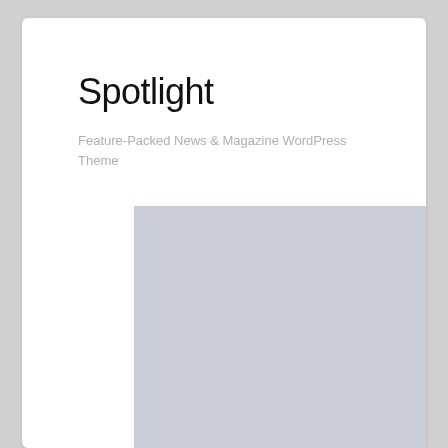Spotlight
Feature-Packed News & Magazine WordPress Theme
[Figure (illustration): Gray placeholder rectangle representing a screenshot or image of a WordPress theme]